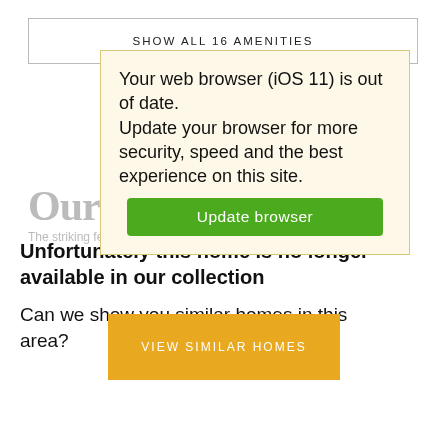SHOW ALL 16 AMENITIES
Your web browser (iOS 11) is out of date. Update your browser for more security, speed and the best experience on this site.
Update browser
Our h
The striking features and hidden details that caught our...
Unfortunately this home is no longer available in our collection
Can we show you similar homes in this area?
VIEW SIMILAR HOMES